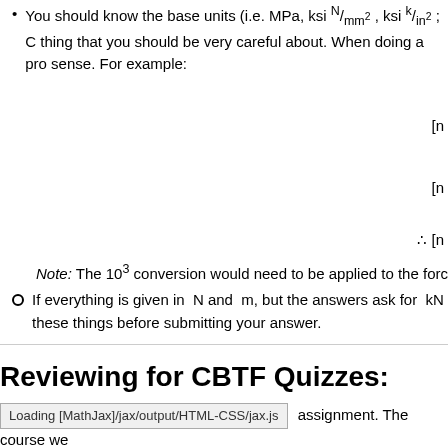You should know the base units (i.e. MPa, ksi, mm², in², etc.) — thing that you should be very careful about. When doing a problem, make sure that the units make sense. For example:
Note: The 10³ conversion would need to be applied to the force...
If everything is given in N and m, but the answers ask for kN..., these things before submitting your answer.
Reviewing for CBTF Quizzes:
Loading [MathJax]/jax/output/HTML-CSS/jax.js  assignment. The course we...